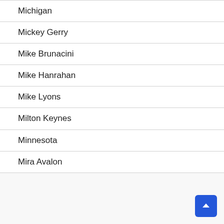Michigan
Mickey Gerry
Mike Brunacini
Mike Hanrahan
Mike Lyons
Milton Keynes
Minnesota
Mira Avalon